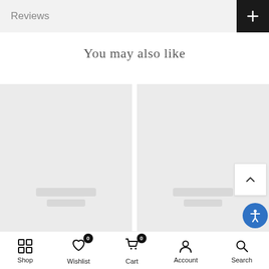Reviews
You may also like
[Figure (screenshot): Two product placeholder cards side by side with gray backgrounds]
Shop  Wishlist 0  Cart 0  Account  Search